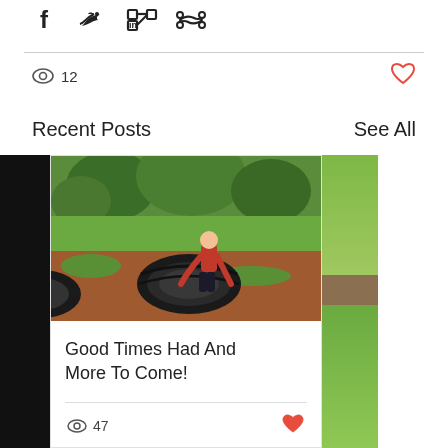[Figure (infographic): Social share icons: Facebook (f), Twitter bird, LinkedIn (in), link icon]
12
[Figure (illustration): Heart/like icon (red outline)]
Recent Posts
See All
[Figure (photo): Person in red shirt flipping a large tire outdoors, green vegetation background, red dirt ground]
Good Times Had And More To Come!
47
[Figure (photo): Partial outdoor photo showing green grass and what appears to be a picnic table]